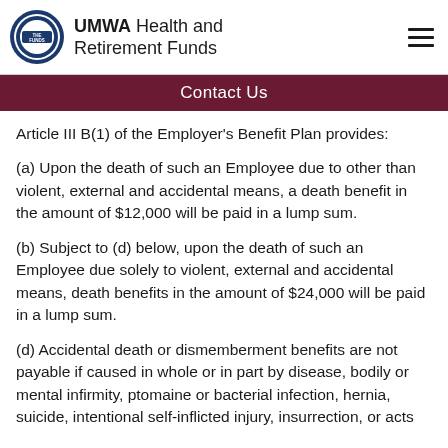UMWA Health and Retirement Funds
Contact Us
Article III B(1) of the Employer's Benefit Plan provides:
(a) Upon the death of such an Employee due to other than violent, external and accidental means, a death benefit in the amount of $12,000 will be paid in a lump sum.
(b) Subject to (d) below, upon the death of such an Employee due solely to violent, external and accidental means, death benefits in the amount of $24,000 will be paid in a lump sum.
(d) Accidental death or dismemberment benefits are not payable if caused in whole or in part by disease, bodily or mental infirmity, ptomaine or bacterial infection, hernia, suicide, intentional self-inflicted injury, insurrection, or acts